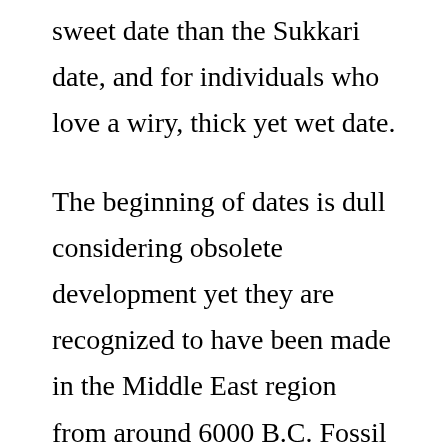sweet date than the Sukkari date, and for individuals who love a wiry, thick yet wet date.
The beginning of dates is dull considering obsolete development yet they are recognized to have been made in the Middle East region from around 6000 B.C. Fossil records show that the date palm has existed for something like 50 million years.
Since their disclosure, dates have normally [checkbox icon]